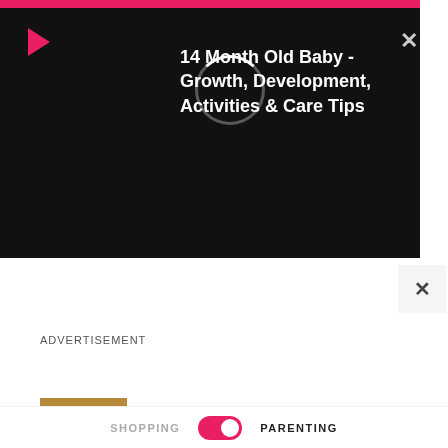[Figure (screenshot): Video player overlay on dark background showing a loading spinner circle, play button, title '14 Month Old Baby - Growth, Development, Activities & Care Tips', and a close X button in the top right corner. Pink bar at top.]
ADVERTISEMENT
LATEST
[Figure (photo): Pregnant woman sitting on a light gray couch, writing in a spiral notebook with a pen. A black and white ultrasound photo is placed on the couch beside her.]
SHOPPING  [toggle]  PARENTING